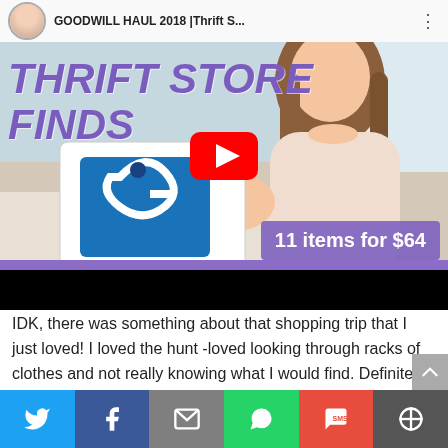[Figure (screenshot): YouTube video thumbnail for 'GOODWILL HAUL 2018 | Thrift S...' showing a woman holding a Goodwill bag with text 'THRIFT STORE FINDS' and overlay '11 items for $64', with YouTube play button in center]
IDK, there was something about that shopping trip that I just loved! I loved the hunt -loved looking through racks of clothes and not really knowing what I would find. Definitely a new hobby of mine! So today I'm sharing a few thrift sto
[Figure (infographic): Social share bar with Twitter, Facebook, Email, WhatsApp, SMS, and More buttons]